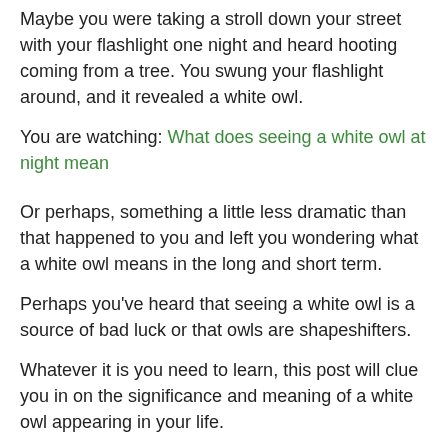Maybe you were taking a stroll down your street with your flashlight one night and heard hooting coming from a tree. You swung your flashlight around, and it revealed a white owl.
You are watching: What does seeing a white owl at night mean
Or perhaps, something a little less dramatic than that happened to you and left you wondering what a white owl means in the long and short term.
Perhaps you've heard that seeing a white owl is a source of bad luck or that owls are shapeshifters.
Whatever it is you need to learn, this post will clue you in on the significance and meaning of a white owl appearing in your life.
In the discipline...